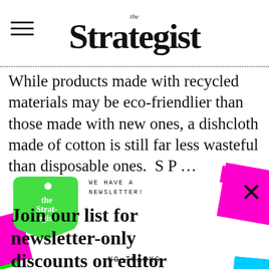the Strategist
While products made with recycled materials may be eco-friendlier than those made with new ones, a dishcloth made of cotton is still far less wasteful than disposable ones. According to Parable...
[Figure (infographic): The Strategist newsletter signup modal overlay with green price-tag logo, colorful decorative paper tabs in magenta, green, cyan, orange, and the newsletter signup form with email input and 'SIGN ME UP' button.]
Join our list for newsletter-only discounts on editor favorites
Plus actually good sales, expert picks, and excellent gift ideas
WE HAVE A NEWSLETTER!
NO THANKS